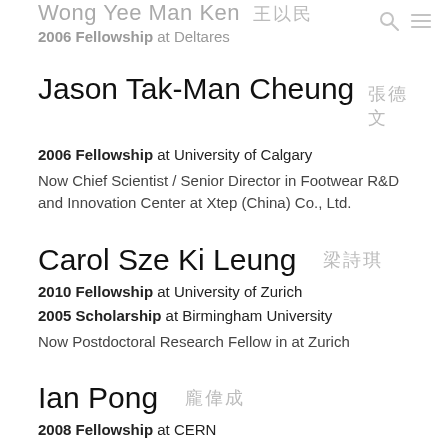Wong Yee Man Ken 王以民 – 2006 Fellowship at Deltares
Jason Tak-Man Cheung 張德文
2006 Fellowship at University of Calgary
Now Chief Scientist / Senior Director in Footwear R&D and Innovation Center at Xtep (China) Co., Ltd.
Carol Sze Ki Leung 梁詩琪
2010 Fellowship at University of Zurich
2005 Scholarship at Birmingham University
Now Postdoctoral Research Fellow in at Zurich
Ian Pong 龐偉成
2008 Fellowship at CERN
2005 Scholarship at University of Cambridge
Now Materials Project Scientist in Accelerator Technology